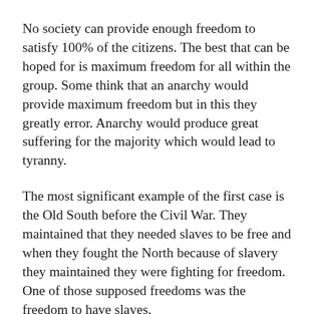No society can provide enough freedom to satisfy 100% of the citizens. The best that can be hoped for is maximum freedom for all within the group. Some think that an anarchy would provide maximum freedom but in this they greatly error. Anarchy would produce great suffering for the majority which would lead to tyranny.
The most significant example of the first case is the Old South before the Civil War. They maintained that they needed slaves to be free and when they fought the North because of slavery they maintained they were fighting for freedom. One of those supposed freedoms was the freedom to have slaves.
Yes, the ownership of slaves did provide a little more freedom to a few in the upper class, but it drastically reduced the freedom for the whole which is the goal that should be pursued by the seeker.
The problem of putting the freedom of the individual